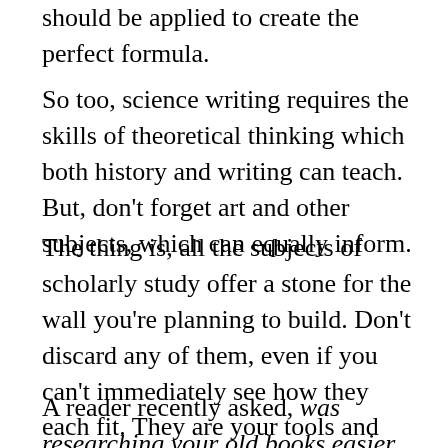should be applied to create the perfect formula.
So too, science writing requires the skills of theoretical thinking which both history and writing can teach. But, don’t forget art and other subjects, which can equally inform.
The thing is, all the subjects of scholarly study offer a stone for the wall you’re planning to build. Don’t discard any of them, even if you can’t immediately see how they each fit. They are your tools and materials.
A reader recently asked, was researching your old books easier or harder than researching